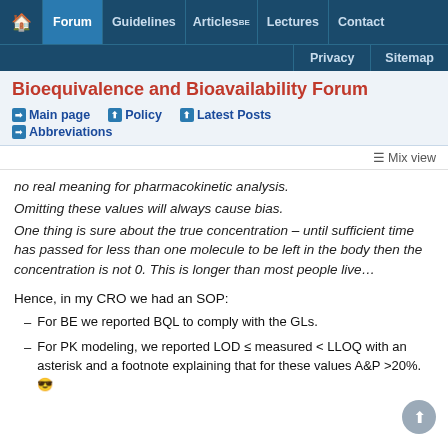Forum | Guidelines | Articles BE | Lectures | Contact | Privacy | Sitemap
Bioequivalence and Bioavailability Forum
→ Main page  ↑ Policy  ↑ Latest Posts  → Abbreviations
≡ Mix view
no real meaning for pharmacokinetic analysis. Omitting these values will always cause bias. One thing is sure about the true concentration – until sufficient time has passed for less than one molecule to be left in the body then the concentration is not 0. This is longer than most people live…
Hence, in my CRO we had an SOP:
For BE we reported BQL to comply with the GLs.
For PK modeling, we reported LOD ≤ measured < LLOQ with an asterisk and a footnote explaining that for these values A&P >20%. 😎